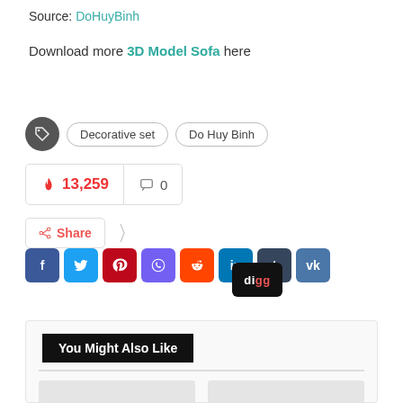Source: DoHuyBinh
Download more 3D Model Sofa here
Decorative set   Do Huy Binh
🔥 13,259   💬 0
Share (social icons: Facebook, Twitter, Pinterest, Viber, Reddit, LinkedIn, Tumblr, VK, digg)
You Might Also Like